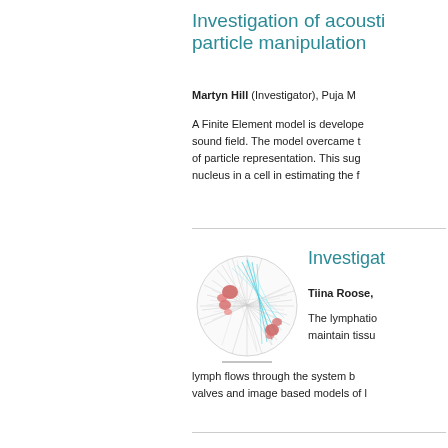Investigation of acoustic particle manipulation
Martyn Hill (Investigator), Puja M
A Finite Element model is developed sound field. The model overcame t of particle representation. This sug nucleus in a cell in estimating the f
[Figure (illustration): Network/graph visualization showing interconnected nodes with colored (red, cyan) flow lines forming a roughly spherical cluster]
Investigat
Tiina Roose,
The lymphatic maintain tissu lymph flows through the system b valves and image based models of l